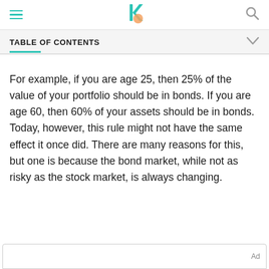TABLE OF CONTENTS
For example, if you are age 25, then 25% of the value of your portfolio should be in bonds. If you are age 60, then 60% of your assets should be in bonds. Today, however, this rule might not have the same effect it once did. There are many reasons for this, but one is because the bond market, while not as risky as the stock market, is always changing.
Ad